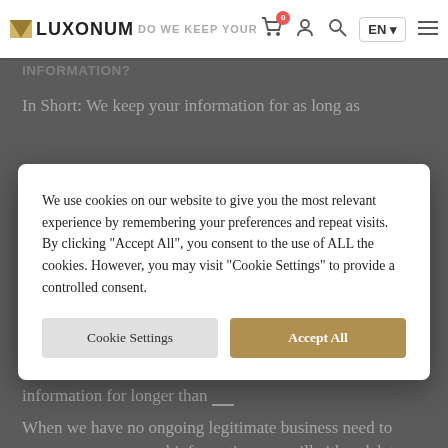LUXONUM — navigation bar with cart, user, search, language (EN), menu icons
HOW LONG DO WE KEEP YOUR INFORMATION?
In Short: We keep your information for as long as
[Figure (screenshot): Cookie consent modal dialog with text: We use cookies on our website to give you the most relevant experience by remembering your preferences and repeat visits. By clicking "Accept All", you consent to the use of ALL the cookies. However, you may visit "Cookie Settings" to provide a controlled consent. Buttons: Cookie Settings and Accept All.]
information for longer than __
When we have no ongoing legitimate business need to process your personal information, we will either delete or anonymize such information, or, if this is not possible (for example, because your personal